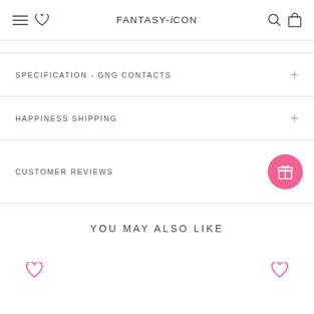FANTASY-i CON
SPECIFICATION - GNG CONTACTS
HAPPINESS SHIPPING
CUSTOMER REVIEWS
YOU MAY ALSO LIKE